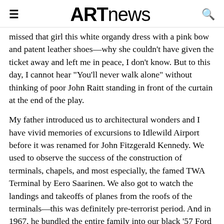ARTnews
missed that girl this white organdy dress with a pink bow and patent leather shoes—why she couldn't have given the ticket away and left me in peace, I don't know. But to this day, I cannot hear “You’ll never walk alone” without thinking of poor John Raitt standing in front of the curtain at the end of the play.
My father introduced us to architectural wonders and I have vivid memories of excursions to Idlewild Airport before it was renamed for John Fitzgerald Kennedy. We used to observe the success of the construction of terminals, chapels, and most especially, the famed TWA Terminal by Eero Saarinen. We also got to watch the landings and takeoffs of planes from the roofs of the terminals—this was definitely pre-terrorist period. And in 1967, he bundled the entire family into our black ’57 Ford Fairlane, and drove to Montreal so that we could see Buckminster Fuller’s